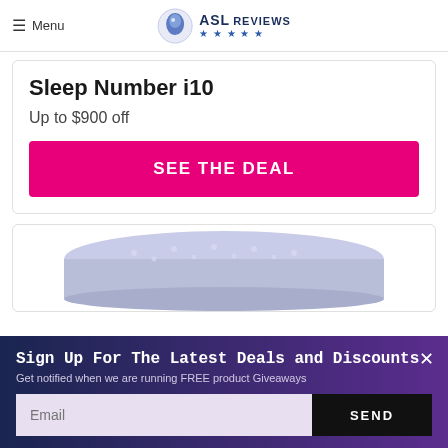Menu | ASL REVIEWS ★★★★★
Sleep Number i10
Up to $900 off
SEE THE DEAL
[Figure (photo): Partial view of a white/light purple mattress from above, cropped at bottom]
Sign Up For The Latest Deals and Discounts
Get notified when we are running FREE product Giveaways
Email
SEND